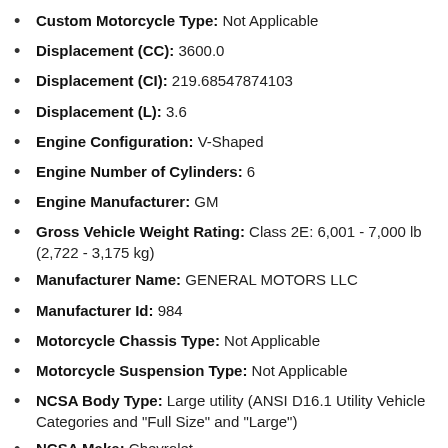Custom Motorcycle Type: Not Applicable
Displacement (CC): 3600.0
Displacement (CI): 219.68547874103
Displacement (L): 3.6
Engine Configuration: V-Shaped
Engine Number of Cylinders: 6
Engine Manufacturer: GM
Gross Vehicle Weight Rating: Class 2E: 6,001 - 7,000 lb (2,722 - 3,175 kg)
Manufacturer Name: GENERAL MOTORS LLC
Manufacturer Id: 984
Motorcycle Chassis Type: Not Applicable
Motorcycle Suspension Type: Not Applicable
NCSA Body Type: Large utility (ANSI D16.1 Utility Vehicle Categories and "Full Size" and "Large")
NCSA Make: Chevrolet
NCSA Model: Traverse (2013 on. For 2009-2012 see model 024.)
Other Restraint System Info: Front Inboard Seat